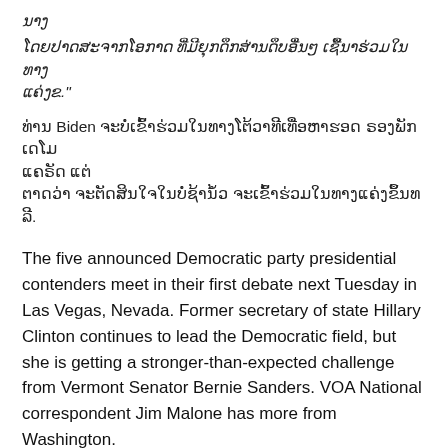ນາງ
ໂດຍປາດສະຈາກໂອກາດ ທີ່ມີຍຸກດຶກສ່ານດຶບອື່ນໆ ເຊື້ນາຮ່ວມໃນທາງ
ແຄ່ງຂ."
ທ່ານ Biden ຈະບໍ່ເຂົ້າຮ່ວມໃນທາງໂຕ້ວາທີເທື່ອຫາຮອດ ຣອງພັກເດໂມ
ແຄຣັດ ແຕ່
ຕາດວ່າ ຈະຕັດສິນໃຈໃນບໍ່ຊ້ານໍ້ວ ຈະເຂົ້າຮ່ວມໃນທາງແຄ່ງຂຶ້ນທລີ.
The five announced Democratic party presidential contenders meet in their first debate next Tuesday in Las Vegas, Nevada. Former secretary of state Hillary Clinton continues to lead the Democratic field, but she is getting a stronger-than-expected challenge from Vermont Senator Bernie Sanders. VOA National correspondent Jim Malone has more from Washington.
Hillary Clinton on the move, looking for votes in New Hampshire and showing rare emotion with an appeal for